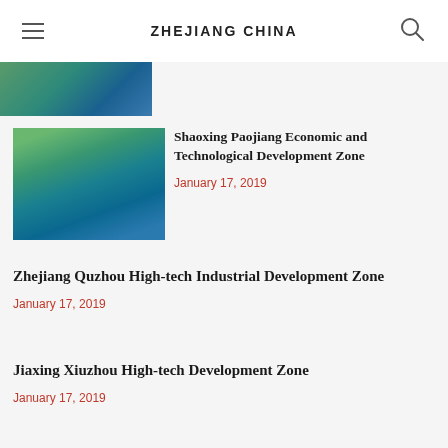ZHEJIANG CHINA
[Figure (photo): Partial aerial photo of a green/blue landscape, cropped at top of page]
Shaoxing Paojiang Economic and Technological Development Zone
January 17, 2019
[Figure (photo): Aerial view of Shaoxing Paojiang Economic and Technological Development Zone showing water, green islands and urban development]
Zhejiang Quzhou High-tech Industrial Development Zone
January 17, 2019
Jiaxing Xiuzhou High-tech Development Zone
January 17, 2019